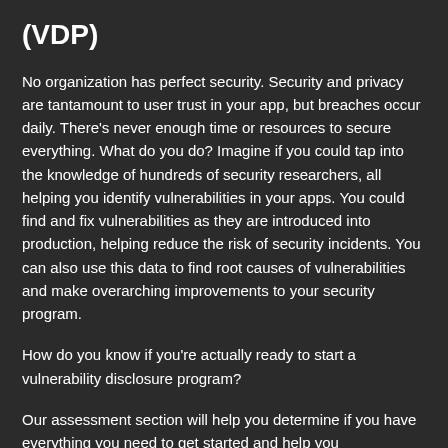(VDP)
No organization has perfect security. Security and privacy are tantamount to user trust in your app, but breaches occur daily. There's never enough time or resources to secure everything. What do you do? Imagine if you could tap into the knowledge of hundreds of security researchers, all helping you identify vulnerabilities in your apps. You could find and fix vulnerabilities as they are introduced into production, helping reduce the risk of security incidents. You can also use this data to find root causes of vulnerabilities and make overarching improvements to your security program.
How do you know if you're actually ready to start a vulnerability disclosure program?
Our assessment section will help you determine if you have everything you need to get started and help you